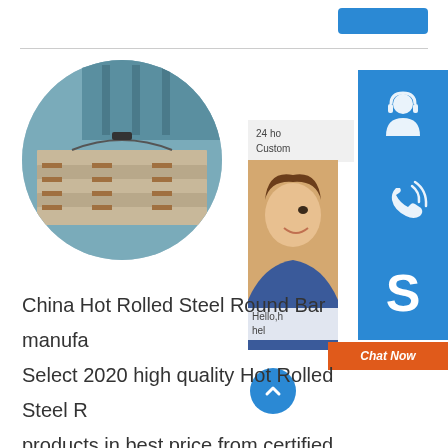[Figure (photo): Circular cropped photo of stacked hot rolled steel sheets/plates in an industrial warehouse with blue steel structure in background]
[Figure (infographic): Right sidebar showing blue icon buttons: 24-hour customer service headset icon, phone/call icon, Skype icon; a partial photo of a smiling woman customer service representative; a Chat Now orange button; and a blue back-to-top arrow circle button]
China Hot Rolled Steel Round Bar manufacturers - Select 2020 high quality Hot Rolled Steel Round Bar products in best price from certified Chinese Steel manufacturers,Stainless Steel suppliers,wholesalers and factory on Hot Rolled Carbon Round Steel (S20# S20c S20cr S20ti) Min.Order 26 Tons.low price hot